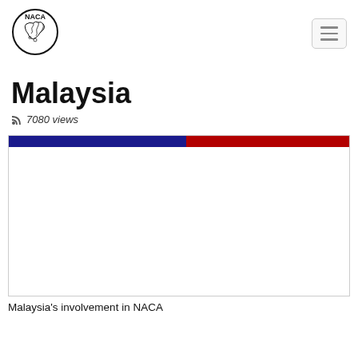NACA logo and navigation
Malaysia
7080 views
[Figure (other): A horizontal stacked bar showing two segments: a dark blue segment on the left (~52%) and a dark red segment on the right (~48%), with a large white empty chart area below enclosed in a thin border.]
Malaysia's involvement in NACA